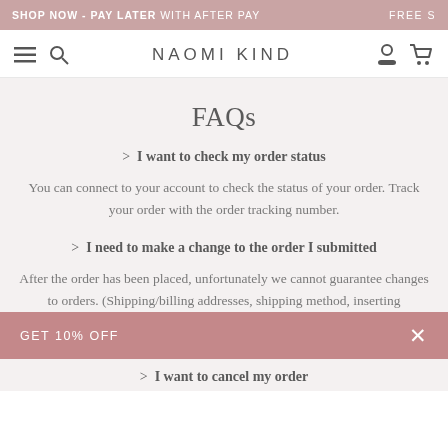SHOP NOW - PAY LATER WITH AFTER PAY   FREE S
[Figure (screenshot): Naomi Kind website navigation bar with hamburger menu, search icon, NAOMI KIND logo, account icon, and cart icon]
FAQs
> I want to check my order status
You can connect to your account to check the status of your order. Track your order with the order tracking number.
> I need to make a change to the order I submitted
After the order has been placed, unfortunately we cannot guarantee changes to orders. (Shipping/billing addresses, shipping method, inserting
GET 10% OFF
> I want to cancel my order